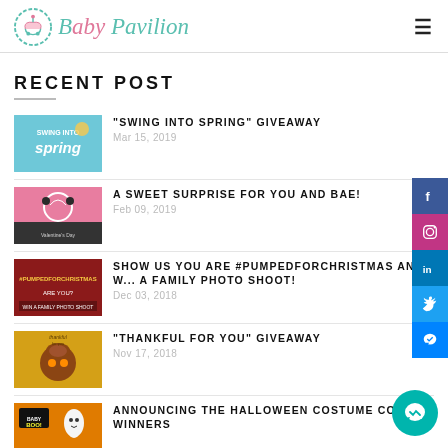Baby Pavilion
RECENT POST
"SWING INTO SPRING" GIVEAWAY — Mar 15, 2019
A SWEET SURPRISE FOR YOU AND BAE! — Feb 09, 2019
SHOW US YOU ARE #PUMPEDFORCHRISTMAS AND W... A FAMILY PHOTO SHOOT! — Dec 03, 2018
"THANKFUL FOR YOU" GIVEAWAY — Nov 17, 2018
ANNOUNCING THE HALLOWEEN COSTUME CON... WINNERS